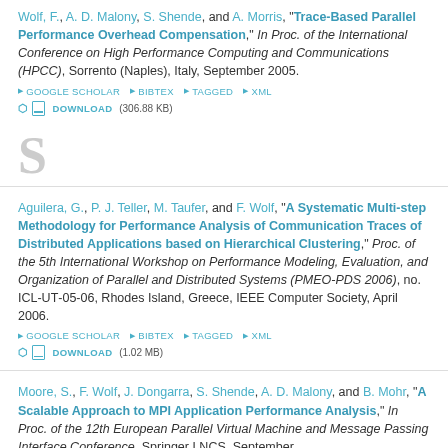Wolf, F., A. D. Malony, S. Shende, and A. Morris, "Trace-Based Parallel Performance Overhead Compensation," In Proc. of the International Conference on High Performance Computing and Communications (HPCC), Sorrento (Naples), Italy, September 2005.
GOOGLE SCHOLAR | BIBTEX | TAGGED | XML | DOWNLOAD (306.88 KB)
S
Aguilera, G., P. J. Teller, M. Taufer, and F. Wolf, "A Systematic Multi-step Methodology for Performance Analysis of Communication Traces of Distributed Applications based on Hierarchical Clustering," Proc. of the 5th International Workshop on Performance Modeling, Evaluation, and Organization of Parallel and Distributed Systems (PMEO-PDS 2006), no. ICL-UT-05-06, Rhodes Island, Greece, IEEE Computer Society, April 2006.
GOOGLE SCHOLAR | BIBTEX | TAGGED | XML | DOWNLOAD (1.02 MB)
Moore, S., F. Wolf, J. Dongarra, S. Shende, A. D. Malony, and B. Mohr, "A Scalable Approach to MPI Application Performance Analysis," In Proc. of the 12th European Parallel Virtual Machine and Message Passing Interface Conference, Springer LNCS, September